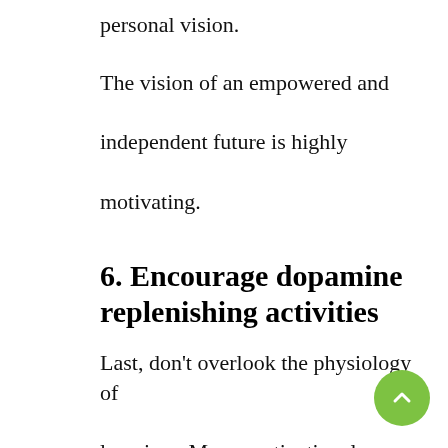personal vision.
The vision of an empowered and independent future is highly motivating.
6. Encourage dopamine replenishing activities
Last, don't overlook the physiology of learning.  Many motivational problems are caused by running out of fuel.